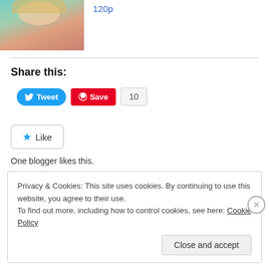[Figure (photo): Partial photo of a person wearing a teal/mint green shirt, cropped at top-left of page]
120p
Share this:
[Figure (screenshot): Tweet button (blue rounded), Save button (red with Pinterest logo), count badge showing 10]
[Figure (screenshot): Like button with blue star icon]
One blogger likes this.
April 25, 2018
12 Replies
Privacy & Cookies: This site uses cookies. By continuing to use this website, you agree to their use.
To find out more, including how to control cookies, see here: Cookie Policy
Close and accept